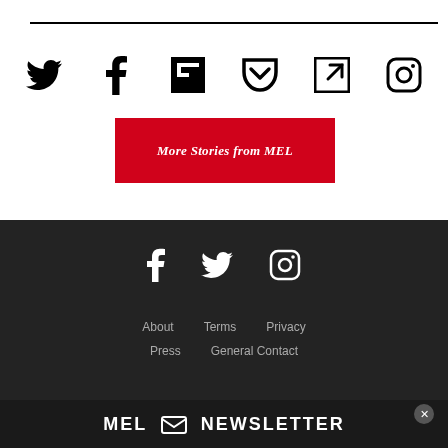[Figure (infographic): Social media sharing icons row: Twitter, Facebook, Flipboard, Pocket, share/external link, Instagram]
[Figure (infographic): Red CTA button with white bold italic text: More Stories from MEL]
[Figure (infographic): Dark footer with white social icons: Facebook, Twitter, Instagram]
About   Terms   Privacy   Press   General Contact
[Figure (infographic): MEL Newsletter subscription bar with envelope icon]